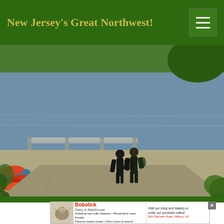New Jersey's Great Northwest!
[Figure (photo): Two people in dark wetsuits walking toward a lake shore. A dock extends into the calm lake water. Colorful kayaks and canoes are stacked on the left shore. Trees visible in background across the water.]
[Figure (photo): Advertisement banner for Bobolink Dairy & Bakehouse, 369 Stamets Road, Milford, NJ. Text: Visit our shop and bakery or order our products online! Artisanal raw-milk cheeses • Wood-fired rustic breads Pasture raised meats • Farm tours & events]